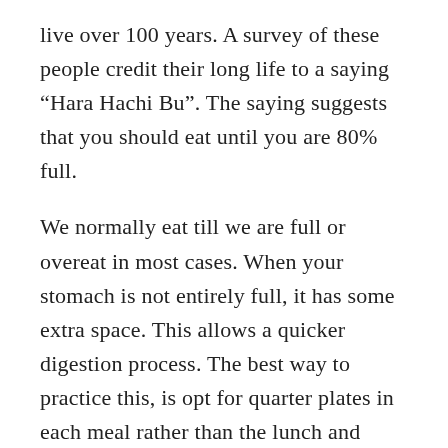live over 100 years. A survey of these people credit their long life to a saying “Hara Hachi Bu”. The saying suggests that you should eat until you are 80% full.
We normally eat till we are full or overeat in most cases. When your stomach is not entirely full, it has some extra space. This allows a quicker digestion process. The best way to practice this, is opt for quarter plates in each meal rather than the lunch and diner plate that we use. Eat larger meals during the day and as the day progresses, reduce the quantity. This is because as the day progresses, our digestive system tends to relax. Especially post sunset, our body tires